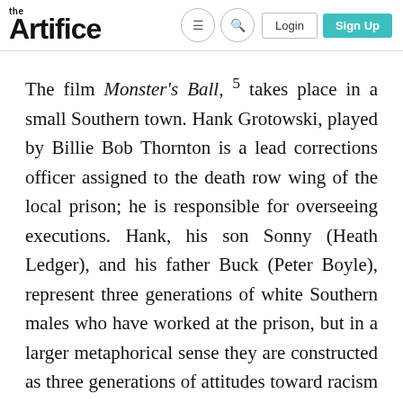the Artifice — navigation bar with Login and Sign Up
The film Monster's Ball, 5 takes place in a small Southern town. Hank Grotowski, played by Billie Bob Thornton is a lead corrections officer assigned to the death row wing of the local prison; he is responsible for overseeing executions. Hank, his son Sonny (Heath Ledger), and his father Buck (Peter Boyle), represent three generations of white Southern males who have worked at the prison, but in a larger metaphorical sense they are constructed as three generations of attitudes toward racism and women.